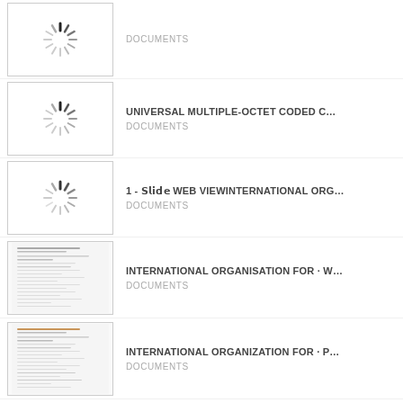DOCUMENTS
UNIVERSAL MULTIPLE-OCTET CODED C... DOCUMENTS
1 - 𝗦𝗹𝗶𝗱𝗲 WEB VIEWINTERNATIONAL ORG... DOCUMENTS
INTERNATIONAL ORGANISATION FOR · W... DOCUMENTS
INTERNATIONAL ORGANIZATION FOR · P... DOCUMENTS